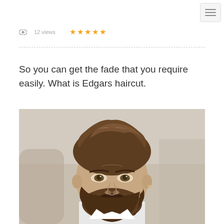☰ menu button (hamburger icon)
👁 12 views ★★★★★
So you can get the fade that you require easily. What is Edgars haircut.
[Figure (photo): Close-up portrait of a man with styled brown hair swept back, full beard, looking directly at camera. Blurred background.]